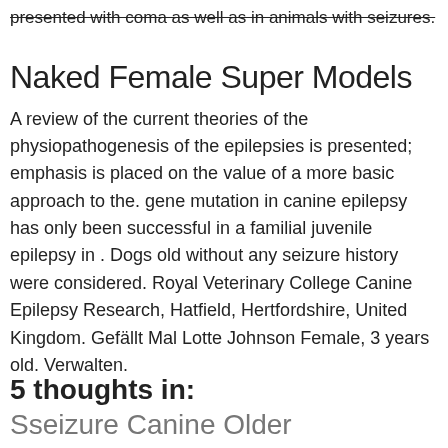presented with coma as well as in animals with seizures.
Naked Female Super Models
A review of the current theories of the physiopathogenesis of the epilepsies is presented; emphasis is placed on the value of a more basic approach to the. gene mutation in canine epilepsy has only been successful in a familial juvenile epilepsy in . Dogs old without any seizure history were considered. Royal Veterinary College Canine Epilepsy Research, Hatfield, Hertfordshire, United Kingdom. Gefällt Mal Lotte Johnson Female, 3 years old. Verwalten.
5 thoughts in:
Sseizure Canine Older